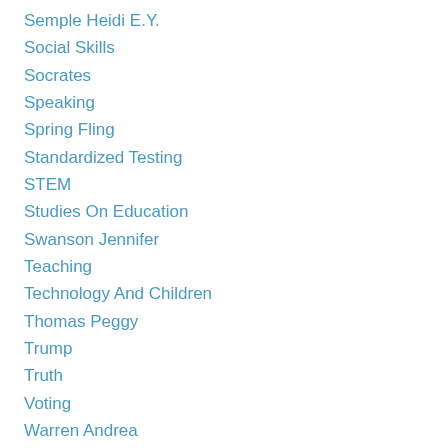Semple Heidi E.Y.
Social Skills
Socrates
Speaking
Spring Fling
Standardized Testing
STEM
Studies On Education
Swanson Jennifer
Teaching
Technology And Children
Thomas Peggy
Trump
Truth
Voting
Warren Andrea
Washington George
Weatherford Carole Boston
Webinars
Work With Us
World War II